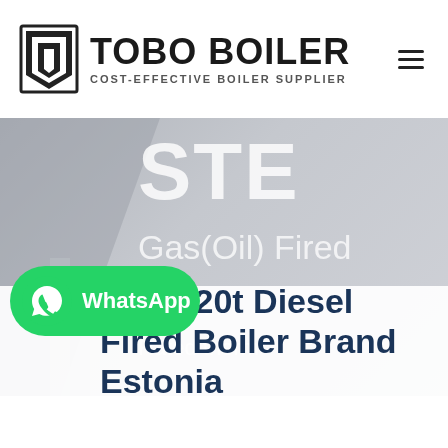[Figure (logo): Tobo Boiler logo with icon and text 'TOBO BOILER / COST-EFFECTIVE BOILER SUPPLIER']
[Figure (photo): Hero banner showing industrial building in background with partially cropped overlay text: 'STE...', 'Gas(Oil) Fired', 'Rated th...', 'Rated therm...' — a product banner for a steam boiler]
...urers 20t Diesel Fired Boiler Brand Estonia